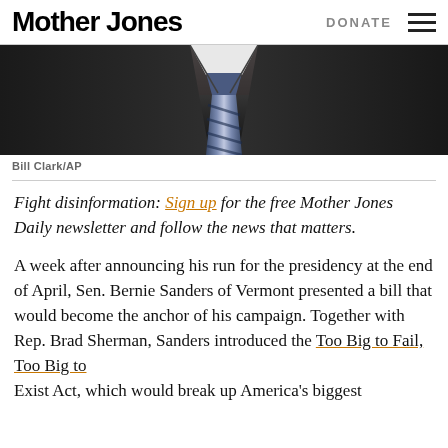Mother Jones | DONATE
[Figure (photo): Partial photo of a person in a suit and striped tie, cropped showing torso and tie area, dark background with crowd visible.]
Bill Clark/AP
Fight disinformation: Sign up for the free Mother Jones Daily newsletter and follow the news that matters.
A week after announcing his run for the presidency at the end of April, Sen. Bernie Sanders of Vermont presented a bill that would become the anchor of his campaign. Together with Rep. Brad Sherman, Sanders introduced the Too Big to Fail, Too Big to Exist Act, which would break up America's biggest